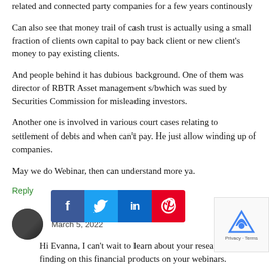related and connected party companies for a few years continously
Can also see that money trail of cash trust is actually using a small fraction of clients own capital to pay back client or new client's money to pay existing clients.
And people behind it has dubious background. One of them was director of RBTR Asset management s/bwhich was sued by Securities Commission for misleading investors.
Another one is involved in various court cases relating to settlement of debts and when can't pay. He just allow winding up of companies.
May we do Webinar, then can understand more ya.
Reply
KCLau
March 5, 2022
Hi Evanna, I can't wait to learn about your research and finding on this financial products on your webinars.
Reply
Evanna
March 5, 2022
[Figure (infographic): Social sharing bar with Facebook, Twitter, LinkedIn, Pinterest icons]
[Figure (other): reCAPTCHA widget with Privacy and Terms text]